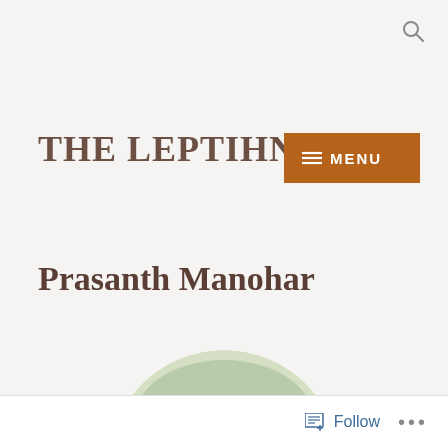[Figure (other): Search icon (magnifying glass) in top right corner]
THE LEPTIHN LAB
[Figure (other): Brown/orange menu button with hamburger icon and text MENU]
Prasanth Manohar
[Figure (photo): Circular cropped portrait photo of a young man with dark hair, partial view showing face and upper body, background with greenery]
Follow  ...